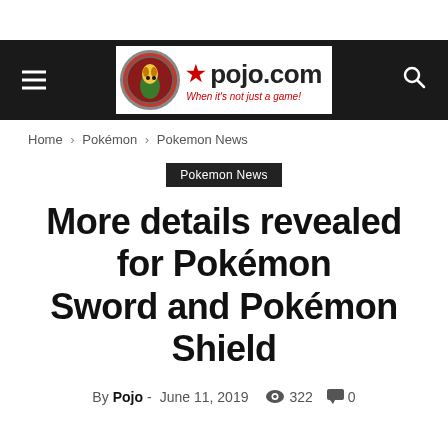pojo.com — When it's not just a game!
Home › Pokémon › Pokemon News
Pokemon News
More details revealed for Pokémon Sword and Pokémon Shield
By Pojo - June 11, 2019  322  0